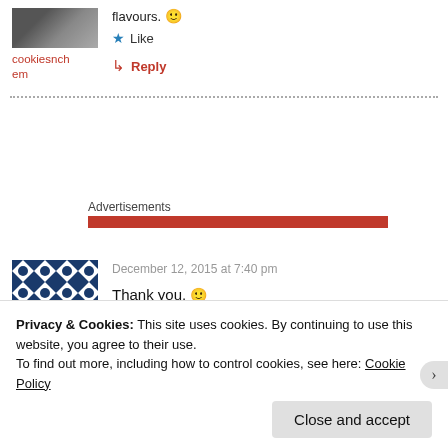[Figure (photo): Small avatar photo of a person, partially visible at top]
cookiescnchem
flavours. 🙂
★ Like
↳ Reply
Advertisements
[Figure (other): Red advertisement bar]
[Figure (illustration): Navy blue geometric pattern avatar for second commenter]
December 12, 2015 at 7:40 pm
Thank you. 🙂
Privacy & Cookies: This site uses cookies. By continuing to use this website, you agree to their use.
To find out more, including how to control cookies, see here: Cookie Policy
Close and accept